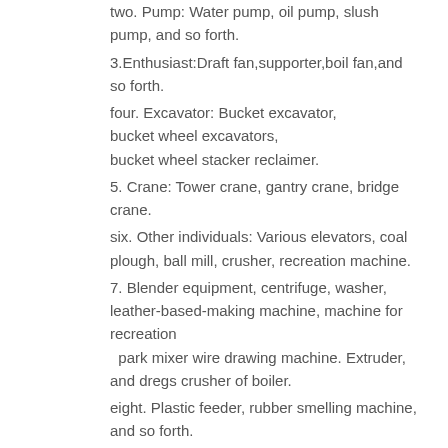two. Pump: Water pump, oil pump, slush pump, and so forth.
3.Enthusiast:Draft fan,supporter,boil fan,and so forth.
four. Excavator: Bucket excavator, bucket wheel excavators, bucket wheel stacker reclaimer.
5. Crane: Tower crane, gantry crane, bridge crane.
six. Other individuals: Various elevators, coal plough, ball mill, crusher, recreation machine.
7. Blender equipment, centrifuge, washer, leather-based-making machine, machine for recreation park mixer wire drawing machine. Extruder, and dregs crusher of boiler.
eight. Plastic feeder, rubber smelling machine, and so forth.
Workshop
EPT items